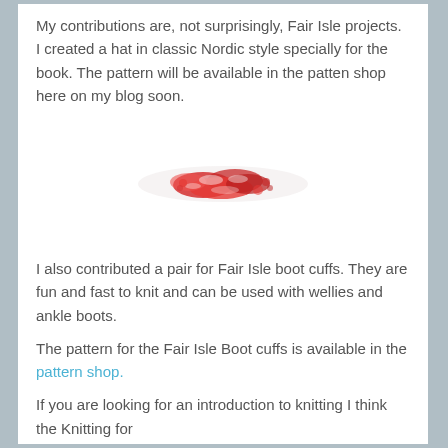My contributions are, not surprisingly, Fair Isle projects. I created a hat in classic Nordic style specially for the book. The pattern will be available in the patten shop here on my blog soon.
[Figure (photo): Small red and white knitted fair isle hat or yarn decoration, photographed from above, centered on white background]
I also contributed a pair for Fair Isle boot cuffs. They are fun and fast to knit and can be used with wellies and ankle boots.
The pattern for the Fair Isle Boot cuffs is available in the pattern shop.
If you are looking for an introduction to knitting I think the Knitting for